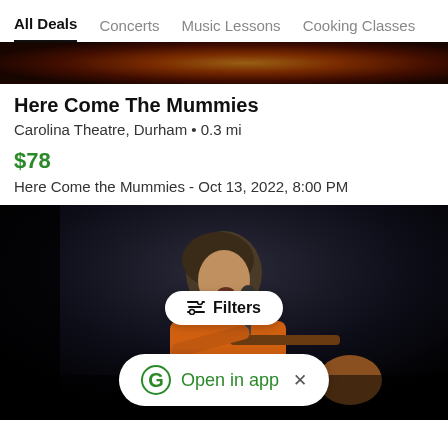All Deals  Concerts  Music Lessons  Cooking Classes
[Figure (photo): Dark atmospheric concert/fire photo strip at top of listing]
Here Come The Mummies
Carolina Theatre, Durham • 0.3 mi
$78
Here Come the Mummies - Oct 13, 2022, 8:00 PM
[Figure (photo): Concert photo of female singer playing guitar on dark stage, with Filters button overlay and Open in app banner overlay]